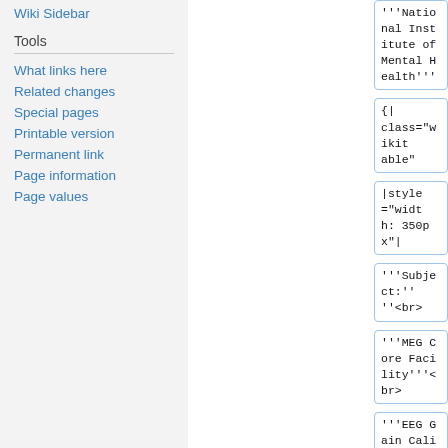Wiki Sidebar
Tools
What links here
Related changes
Special pages
Printable version
Permanent link
Page information
Page values
'''National Institute of Mental Health'''
{|
class="wikitable"
|style="width: 350px"|
'''Subject:''''<br>
'''MEG Core Facility'''<br>
'''EEG Gain Calibration Procedures''<br>